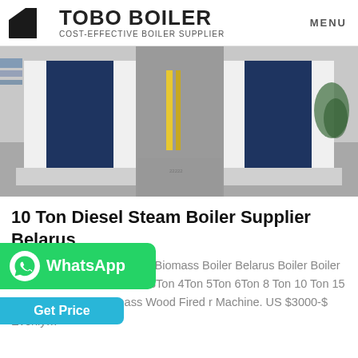[Figure (logo): TOBO BOILER logo with geometric icon and tagline COST-EFFECTIVE BOILER SUPPLIER, with MENU text on right]
[Figure (photo): Industrial steam boilers in a facility, showing large dark blue and white boiler units on concrete floor in a warehouse setting]
10 Ton Diesel Steam Boiler Supplier Belarus
Agent Energy Saving 1 Ton Biomass Boiler Belarus Boiler Boiler Machine 3tons 1 Ton 2Ton 3Ton 4Ton 5Ton 6Ton 8 Ton 10 Ton 15 Ton 20 Ton Coal Biomass Wood Fired r Machine. US $3000-$ Evenly…
[Figure (other): WhatsApp button — green rounded button with WhatsApp logo and text]
[Figure (other): Get Price button — cyan/teal rounded button]